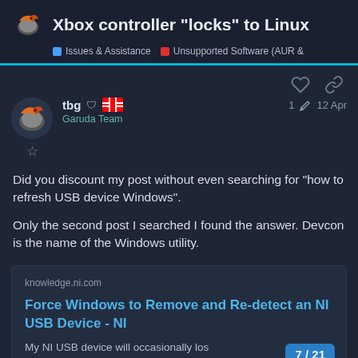Xbox controller "locks" to Linux | Issues & Assistance | Unsupported Software (AUR &
Did you discount my post without even searching for "how to refresh USB device Windows".

Only the second post I searched I found the answer. Devcon is the name of the Windows utility.
[Figure (screenshot): Link card preview for knowledge.ni.com article titled 'Force Windows to Remove and Re-detect an NI USB Device - NI' with excerpt 'My NI USB device will occasionally los']
7 / 21